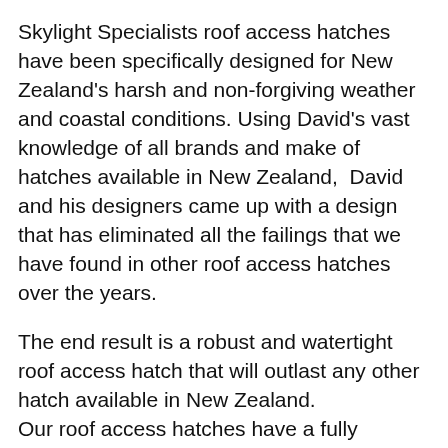Skylight Specialists roof access hatches have been specifically designed for New Zealand's harsh and non-forgiving weather and coastal conditions. Using David's vast knowledge of all brands and make of hatches available in New Zealand,  David and his designers came up with a design that has eliminated all the failings that we have found in other roof access hatches over the years.
The end result is a robust and watertight roof access hatch that will outlast any other hatch available in New Zealand. Our roof access hatches have a fully welded seamless frame. This guarantees they will not rust, rot or weaken over time, unlike other roof hatch brands.  Because our roof access hatches are welded, and not held together with silicone, glue and screws, they will stay strong no matter what weather is thrown its way.